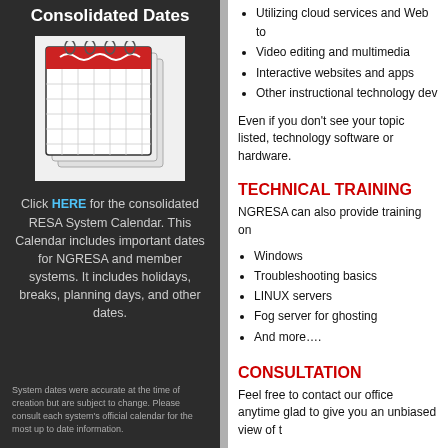Consolidated Dates
[Figure (illustration): Hand-drawn calendar icon with red highlighted date strip at top, shown on white background]
Click HERE for the consolidated RESA System Calendar. This Calendar includes important dates for NGRESA and member systems. It includes holidays, breaks, planning days, and other dates.
System dates were accurate at the time of creation but are subject to change. Please consult each system's official calendar for the most up to date information.
Utilizing cloud services and Web to
Video editing and multimedia
Interactive websites and apps
Other instructional technology dev
Even if you don't see your topic listed, technology software or hardware.
TECHNICAL TRAINING
NGRESA can also provide training on
Windows
Troubleshooting basics
LINUX servers
Fog server for ghosting
And more….
CONSULTATION
Feel free to contact our office anytime glad to give you an unbiased view of t